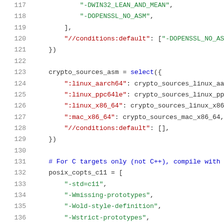Code listing lines 117-137: Bazel BUILD file fragment showing crypto_sources_asm select block and posix_copts_c11 list definition
117: "-DWIN32_LEAN_AND_MEAN",
118: "-DOPENSSL_NO_ASM",
119: ],
120: "//conditions:default": ["-DOPENSSL_NO_ASM"
121: })
122: 
123: crypto_sources_asm = select({
124: ":linux_aarch64": crypto_sources_linux_aarch
125: ":linux_ppc64le": crypto_sources_linux_ppc64
126: ":linux_x86_64": crypto_sources_linux_x86_64
127: ":mac_x86_64": crypto_sources_mac_x86_64,
128: "//conditions:default": [],
129: })
130: 
131: # For C targets only (not C++), compile with C1
132: posix_copts_c11 = [
133: "-std=c11",
134: "-Wmissing-prototypes",
135: "-Wold-style-definition",
136: "-Wstrict-prototypes",
137: ]